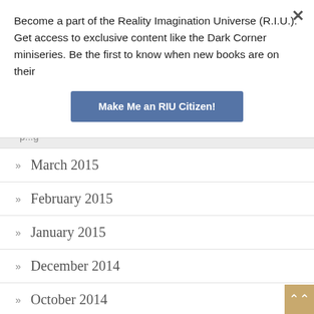Become a part of the Reality Imagination Universe (R.I.U.). Get access to exclusive content like the Dark Corner miniseries. Be the first to know when new books are on their
Make Me an RIU Citizen!
p...g
March 2015
February 2015
January 2015
December 2014
October 2014
September 2014